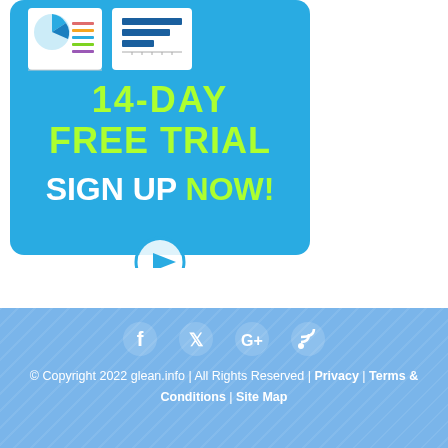[Figure (infographic): Blue rounded promotional banner with charts thumbnails at top, lime-green text '14-DAY FREE TRIAL', white and lime-green text 'SIGN UP NOW!', and a circular play button at the bottom]
© Copyright 2022 glean.info | All Rights Reserved | Privacy | Terms & Conditions | Site Map